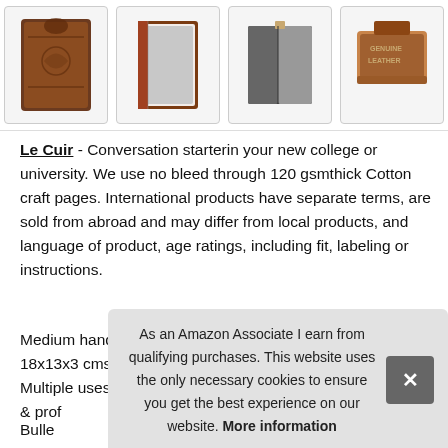[Figure (photo): Four product images of leather journals/notebooks displayed in a row at the top of the page]
Le Cuir - Conversation starterin your new college or university. We use no bleed through 120 gsmthick Cotton craft pages. International products have separate terms, are sold from abroad and may differ from local products, and language of product, age ratings, including fit, labeling or instructions.
Medium handheld sized dimensions: 7x5x1 inches/ 18x13x3 cms, portable to carry for your next vacation trip. Multiple uses: smooth 200 blank papers, highlighter, writers & prof
As an Amazon Associate I earn from qualifying purchases. This website uses the only necessary cookies to ensure you get the best experience on our website. More information
Bulle